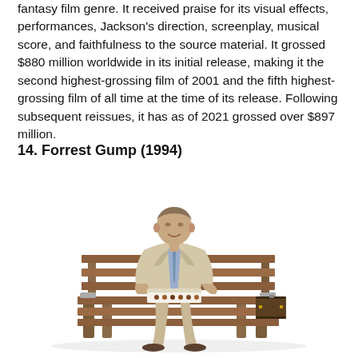fantasy film genre. It received praise for its visual effects, performances, Jackson's direction, screenplay, musical score, and faithfulness to the source material. It grossed $880 million worldwide in its initial release, making it the second highest-grossing film of 2001 and the fifth highest-grossing film of all time at the time of its release. Following subsequent reissues, it has as of 2021 grossed over $897 million.
14. Forrest Gump (1994)
[Figure (photo): Movie poster style image of Forrest Gump (Tom Hanks) sitting on a wooden park bench wearing a light beige suit and blue plaid shirt, holding a box of chocolates on his lap, with a suitcase beside him. The background is white.]